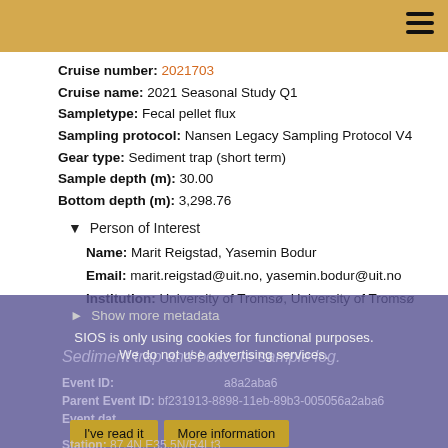Cruise number: 2021703
Cruise name: 2021 Seasonal Study Q1
Sampletype: Fecal pellet flux
Sampling protocol: Nansen Legacy Sampling Protocol V4
Gear type: Sediment trap (short term)
Sample depth (m): 30.00
Bottom depth (m): 3,298.76
▼ Person of Interest
Name: Marit Reigstad, Yasemin Bodur
Email: marit.reigstad@uit.no, yasemin.bodur@uit.no
Institution: University of Tromsø, University of Tromsø
► Show more metadata
SIOS is only using cookies for functional purposes.
We do not use advertising services.
Sediment trap and boxcore sample log.
Event ID: ...a8a2aba6
Parent Event ID: bf231913-8898-11eb-89b3-005056a2aba6
Event dat...
Station: 87.4N,E35.5N/R4Lt3
I've read it   More information